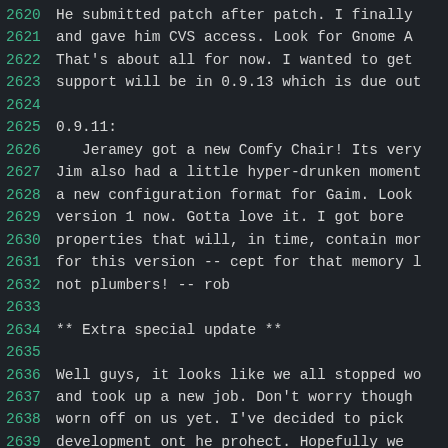2620 He submitted patch after patch.  I finally
2621 and gave him CVS access.  Look for Gnome A
2622 That's about all for now.  I wanted to get
2623 support will be in 0.9.13 which is due out
2624
2625 0.9.11:
2626    Jeramey got a new Comfy Chair! Its very
2627 Jim also had a little hyper-drunken moment
2628 a new configuration format for Gaim.  Look
2629 version 1 now.  Gotta love it.  I got bore
2630 properties that will, in time, contain mor
2631 for this version -- cept for that memory l
2632 not plumbers! -- rob
2633
2634 ** Extra special update **
2635
2636 Well guys, it looks like we all stopped wo
2637 and took up a new job.  Don't worry though
2638 worn off on us yet.  I've decided to pick
2639 development ont he prohect.  Hopefully we